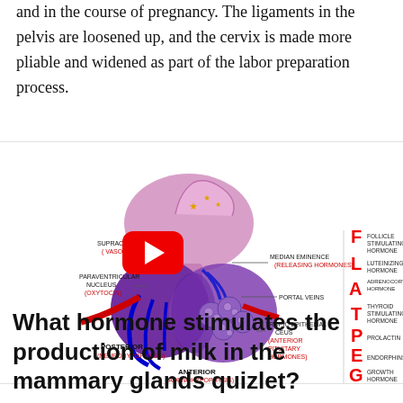and in the course of pregnancy. The ligaments in the pelvis are loosened up, and the cervix is made more pliable and widened as part of the labor preparation process.
[Figure (illustration): Medical illustration of the pituitary gland showing the hypothalamus, supraoptic nucleus (vasopressin), paraventricular nucleus (oxytocin), median eminence (releasing hormones), portal veins, tropic epithelial cells (anterior pituitary hormones), posterior (neurohypophysis), and anterior (adenohypophysis) sections. A YouTube play button overlay is present. On the right side, a FLATPEG acronym lists: F-Follicle Stimulating Hormone, L-Luteinizing Hormone, A-Adrenocorticotropic Hormone, T-Thyroid Stimulating Hormone, P-Prolactin, E-Endorphins, G-Growth Hormone.]
What hormone stimulates the production of milk in the mammary glands quizlet?